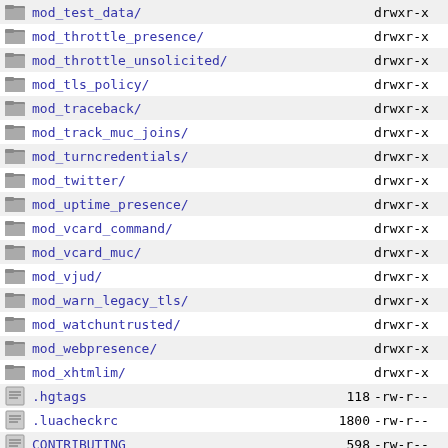mod_test_data/ drwxr-x
mod_throttle_presence/ drwxr-x
mod_throttle_unsolicited/ drwxr-x
mod_tls_policy/ drwxr-x
mod_traceback/ drwxr-x
mod_track_muc_joins/ drwxr-x
mod_turncredentials/ drwxr-x
mod_twitter/ drwxr-x
mod_uptime_presence/ drwxr-x
mod_vcard_command/ drwxr-x
mod_vcard_muc/ drwxr-x
mod_vjud/ drwxr-x
mod_warn_legacy_tls/ drwxr-x
mod_watchuntrusted/ drwxr-x
mod_webpresence/ drwxr-x
mod_xhtmlim/ drwxr-x
.hgtags 118 -rw-r--
.luacheckrc 1800 -rw-r--
CONTRIBUTING 598 -rw-r--
COPYING 1134 -rw-r--
README 1212 -rw-r--